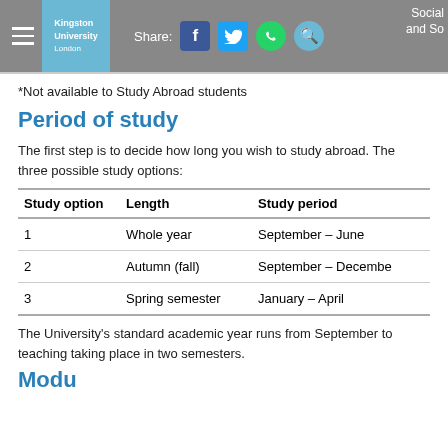Kingston University London | Share: [social icons] Social and Sc
*Not available to Study Abroad students
Period of study
The first step is to decide how long you wish to study abroad. The three possible study options:
| Study option | Length | Study period |
| --- | --- | --- |
| 1 | Whole year | September – June |
| 2 | Autumn (fall) | September – December |
| 3 | Spring semester | January – April |
The University's standard academic year runs from September to teaching taking place in two semesters.
Modu...